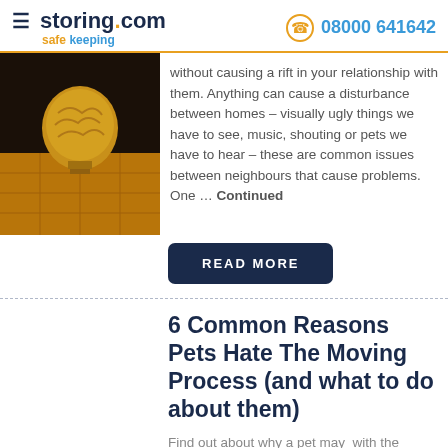storing.com safe keeping | 08000 641642
[Figure (photo): Dark image of a decorative lightbulb or brain-shaped object on a wooden floor surface]
without causing a rift in your relationship with them. Anything can cause a disturbance between homes – visually ugly things we have to see, music, shouting or pets we have to hear – these are common issues between neighbours that cause problems. One ... Continued
READ MORE
6 Common Reasons Pets Hate The Moving Process (and what to do about them)
Find out about why a pet may  with the